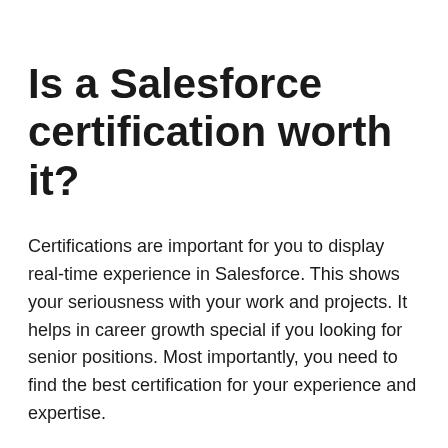Is a Salesforce certification worth it?
Certifications are important for you to display real-time experience in Salesforce. This shows your seriousness with your work and projects. It helps in career growth special if you looking for senior positions. Most importantly, you need to find the best certification for your experience and expertise.